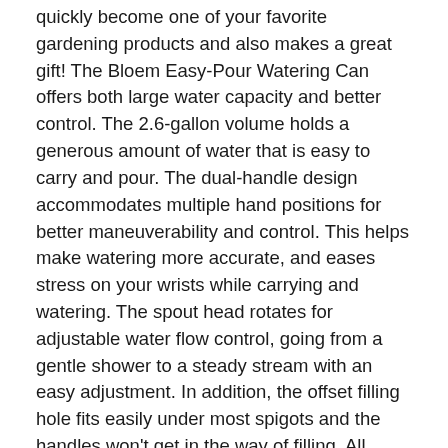quickly become one of your favorite gardening products and also makes a great gift! The Bloem Easy-Pour Watering Can offers both large water capacity and better control. The 2.6-gallon volume holds a generous amount of water that is easy to carry and pour. The dual-handle design accommodates multiple hand positions for better maneuverability and control. This helps make watering more accurate, and eases stress on your wrists while carrying and watering. The spout head rotates for adjustable water flow control, going from a gentle shower to a steady stream with an easy adjustment. In addition, the offset filling hole fits easily under most spigots and the handles won't get in the way of filling. All weather durability with UV protection and thick wall design ensures long lasting use. Made in USA. Holds 2.6 gallons = 333 oz. Easy dual handle design with one hinged handle for easy pouring, movability and eases stress on your wrists 2-in-1 Adjustable water spout rotates to offer a light shower or heavy stream depending on the needs of the plant. Spout can be removed for cleaning. Size: Width 19.75 in (x) Depth 9.75 in (x) Height 15.25 in Thick wall structure - no